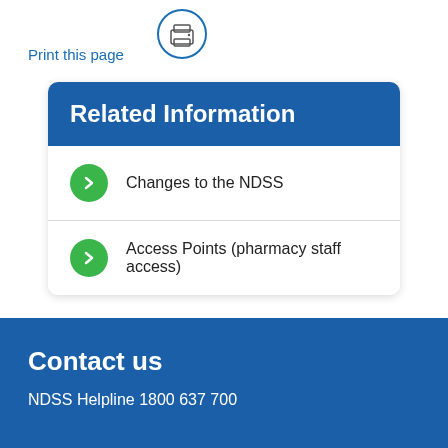Print this page
[Figure (illustration): Printer icon inside a circle outline]
Related Information
Changes to the NDSS
Access Points (pharmacy staff access)
Contact us
NDSS Helpline 1800 637 700